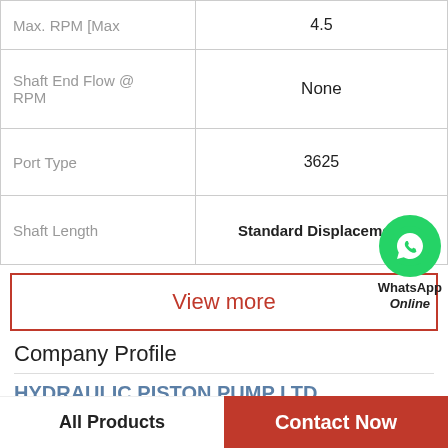| Parameter | Value |
| --- | --- |
| Max. RPM [Max | 4.5 |
| Shaft End Flow @ RPM | None |
| Port Type | 3625 |
| Shaft Length | Standard Displacement |
[Figure (other): WhatsApp Online green circular icon with phone handset, with text 'WhatsApp Online' below]
View more
Company Profile
HYDRAULIC PISTON PUMP LTD
Phone    627-6259
All Products
Contact Now